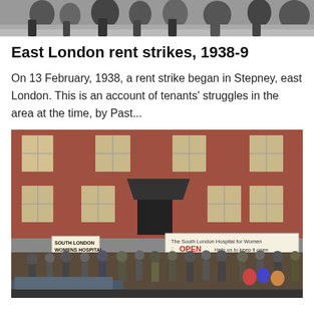[Figure (photo): Black and white historical photograph showing people, partially visible at the top of the page]
East London rent strikes, 1938-9
On 13 February, 1938, a rent strike began in Stepney, east London. This is an account of tenants' struggles in the area at the time, by Past...
[Figure (photo): Colour photograph of protesters outside the South London Hospital for Women. A crowd of people stand on the pavement in front of a large red-brick Victorian building. Signs read 'SOUTH LONDON WOMENS HOSPITAL JOIN OUR [OCCUPATION]' and 'The South London Hospital for Women is OPEN Help us to keep it open'. A car is visible in the foreground.]